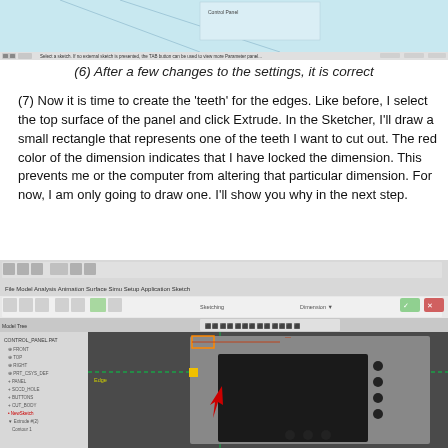[Figure (screenshot): Top portion of a CAD software screenshot showing a toolbar and a dialog or viewport with light blue background.]
(6) After a few changes to the settings, it is correct
(7) Now it is time to create the 'teeth' for the edges. Like before, I select the top surface of the panel and click Extrude. In the Sketcher, I'll draw a small rectangle that represents one of the teeth I want to cut out. The red color of the dimension indicates that I have locked the dimension. This prevents me or the computer from altering that particular dimension. For now, I am only going to draw one. I'll show you why in the next step.
[Figure (screenshot): CAD software (FreeCAD) screenshot showing a 3D model of a control panel with a sketcher active, showing a small rectangle tooth shape being drawn on the top edge. A red arrow points to a dimension. The panel model is visible with buttons and a screen cutout.]